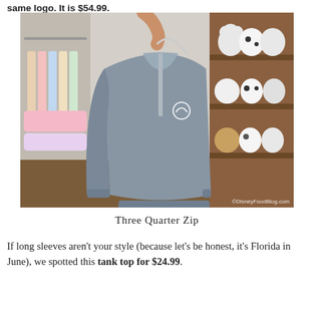same logo. It is $54.99.
[Figure (photo): A hand holding up a grey quarter-zip pullover sweatshirt in a Disney merchandise store. Stuffed animal toys are visible on shelves on the right, and clothing racks are visible on the left. A small Disney logo is embroidered on the chest. Watermark reads: ©DisneyFoodBlog.com]
Three Quarter Zip
If long sleeves aren't your style (because let's be honest, it's Florida in June), we spotted this tank top for $24.99.